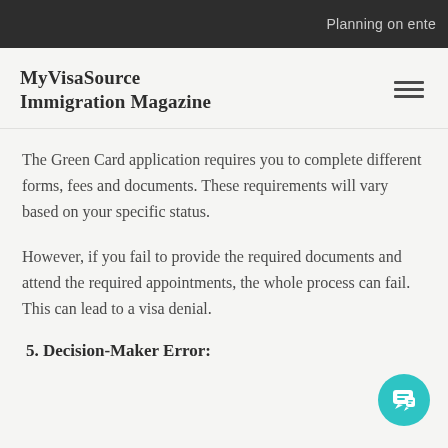Planning on ente
MyVisaSource Immigration Magazine
The Green Card application requires you to complete different forms, fees and documents. These requirements will vary based on your specific status.
However, if you fail to provide the required documents and attend the required appointments, the whole process can fail. This can lead to a visa denial.
5. Decision-Maker Error: